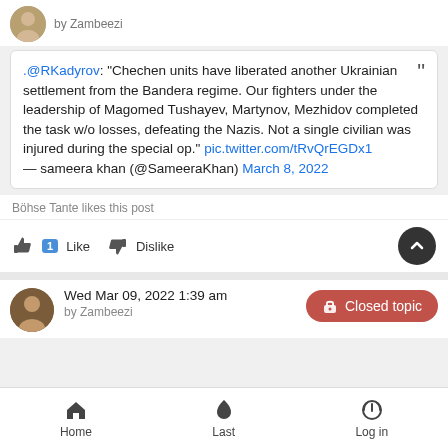by Zambeezi
.@RKadyrov: "Chechen units have liberated another Ukrainian settlement from the Bandera regime. Our fighters under the leadership of Magomed Tushayev, Martynov, Mezhidov completed the task w/o losses, defeating the Nazis. Not a single civilian was injured during the special op." pic.twitter.com/tRvQrEGDx1 — sameera khan (@SameeraKhan) March 8, 2022
Böhse Tante likes this post
1 Like  Dislike
Wed Mar 09, 2022 1:39 am  by Zambeezi
Closed topic
Home  Last  Log in